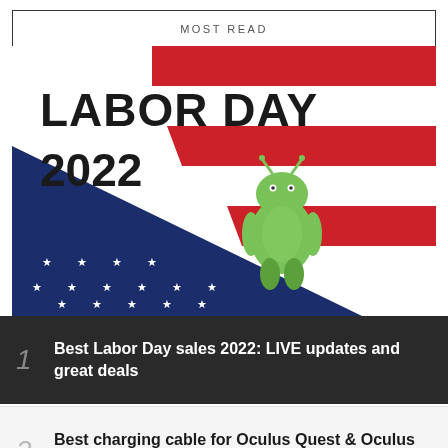MOST READ
[Figure (illustration): Labor Day 2022 promotional image with Android mascot and diagonal American flag with red/white stripes and blue canton with white stars]
1 Best Labor Day sales 2022: LIVE updates and great deals
2 Best charging cable for Oculus Quest & Oculus Quest 2 in 2022